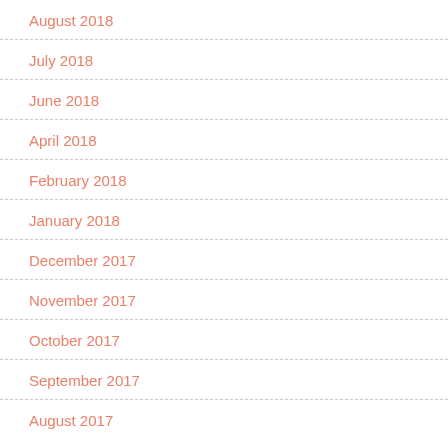August 2018
July 2018
June 2018
April 2018
February 2018
January 2018
December 2017
November 2017
October 2017
September 2017
August 2017